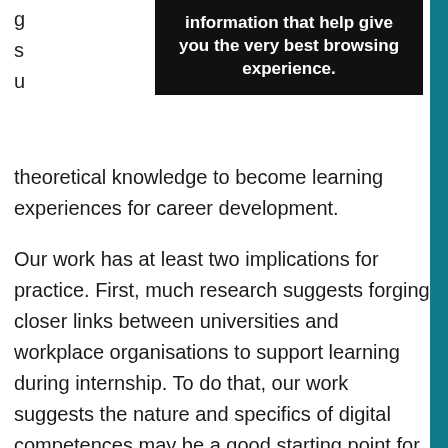[Figure (screenshot): A dark tooltip/popup overlay showing cookie consent message: 'information that help give you the very best browsing experience.']
theoretical knowledge to become learning experiences for career development.

Our work has at least two implications for practice. First, much research suggests forging closer links between universities and workplace organisations to support learning during internship. To do that, our work suggests the nature and specifics of digital competences may be a good starting point for closer collaboration between these organisations for supporting the transition of learners from school to work. Foregrounding the affordances of digital tools used in school and the workplace can offer a practical springboard for considering how to better prepare learners for the workplace. Second